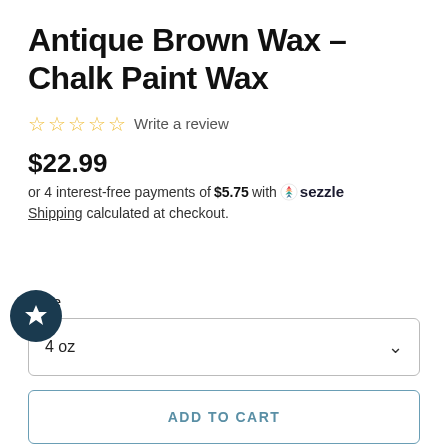Antique Brown Wax - Chalk Paint Wax
☆ ☆ ☆ ☆ ☆ Write a review
$22.99
or 4 interest-free payments of $5.75 with ● sezzle
Shipping calculated at checkout.
Size
4 oz
ADD TO CART
♡ ADD TO WISHLIST